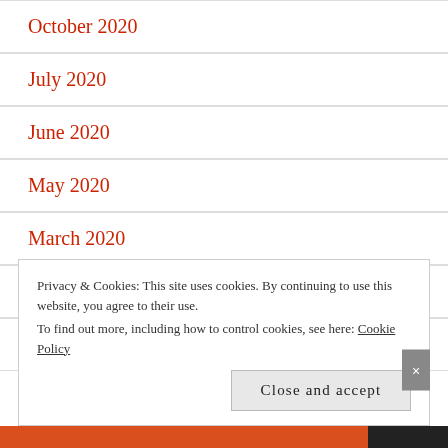October 2020
July 2020
June 2020
May 2020
March 2020
February 2020
December 2019
Privacy & Cookies: This site uses cookies. By continuing to use this website, you agree to their use.
To find out more, including how to control cookies, see here: Cookie Policy
Close and accept